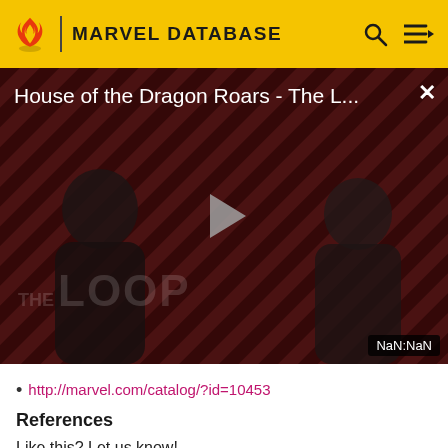MARVEL DATABASE
[Figure (screenshot): Video player thumbnail showing 'House of the Dragon Roars - The L...' with a play button in the center, two people silhouetted in a dark background with diagonal red and black stripes, 'THE LOOP' watermark visible, and NaN:NaN timestamp at bottom right.]
http://marvel.com/catalog/?id=10453
References
Like this? Let us know!